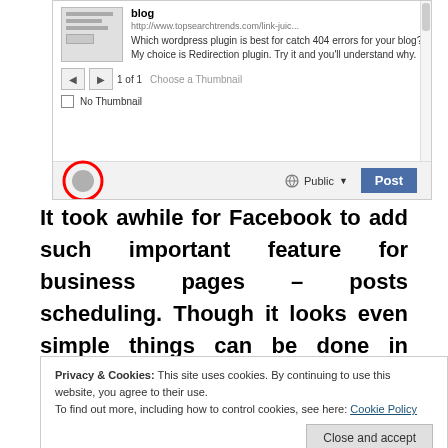[Figure (screenshot): Facebook post sharing UI showing a blog link preview with thumbnail, navigation controls, No Thumbnail checkbox, and bottom bar with avatar (circled in red), Public dropdown, and Post button]
It took awhile for Facebook to add such important feature for business pages – posts scheduling. Though it looks even simple things can be done in complicated way. Instead of one simple calendar control for
Privacy & Cookies: This site uses cookies. By continuing to use this website, you agree to their use.
To find out more, including how to control cookies, see here: Cookie Policy
it is much better then nothing. Here is step by step